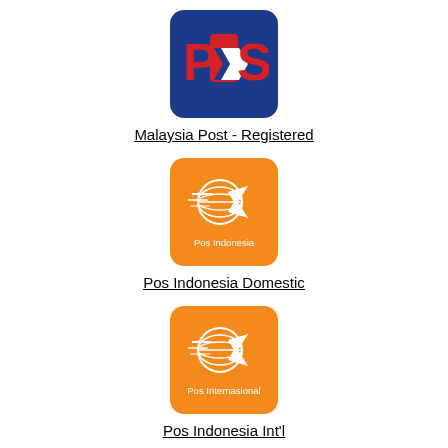[Figure (logo): Malaysia Post (Pos Malaysia) logo — blue rounded square with red POS text and white arrow chevron]
Malaysia Post - Registered
[Figure (logo): Pos Indonesia Domestic logo — orange rounded square with white globe-and-bird graphic and 'Pos Indonesia' text]
Pos Indonesia Domestic
[Figure (logo): Pos Indonesia International logo — orange rounded square with white globe-and-bird graphic and 'Pos Internasional' text]
Pos Indonesia Int'l
[Figure (logo): Fourth carrier logo — teal/blue rounded square, partially visible at bottom]